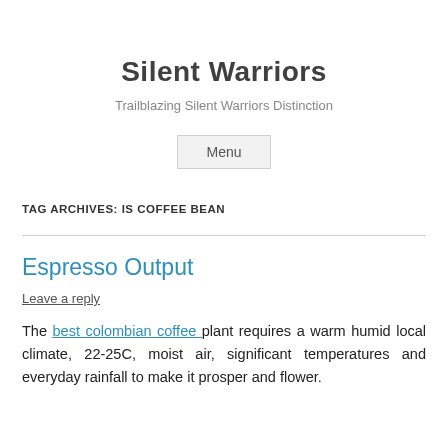Silent Warriors
Trailblazing Silent Warriors Distinction
Menu
TAG ARCHIVES: IS COFFEE BEAN
Espresso Output
Leave a reply
The best colombian coffee plant requires a warm humid local climate, 22-25C, moist air, significant temperatures and everyday rainfall to make it prosper and flower.